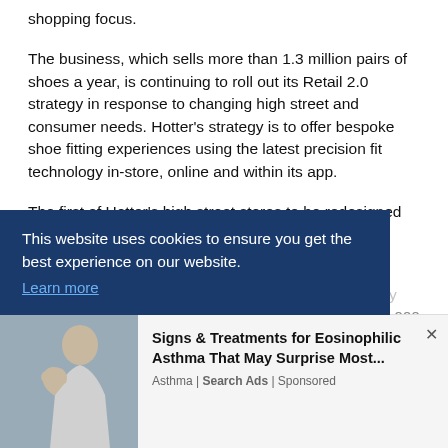shopping focus.
The business, which sells more than 1.3 million pairs of shoes a year, is continuing to roll out its Retail 2.0 strategy in response to changing high street and consumer needs. Hotter’s strategy is to offer bespoke shoe fitting experiences using the latest precision fit technology in-store, online and within its app.
The first of Hotter’s high street stores to be redesigned to become more experiential—holding less inventory [partially obscured] 000 [partially obscured] in the [partially obscured] nit in [partially obscured] as
This website uses cookies to ensure you get the best experience on our website. Learn more
[Figure (photo): Person coughing or covering mouth, used in advertisement]
Signs & Treatments for Eosinophilic Asthma That May Surprise Most... Asthma | Search Ads | Sponsored